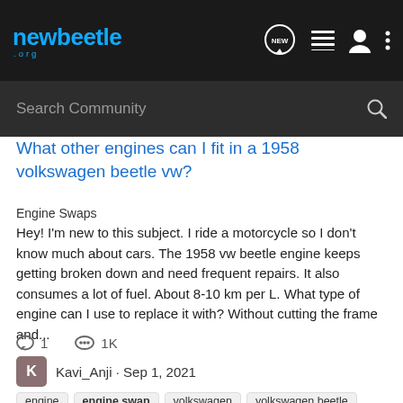newbeetle.org
Search Community
What other engines can I fit in a 1958 volkswagen beetle vw?
Engine Swaps
Hey! I'm new to this subject. I ride a motorcycle so I don't know much about cars. The 1958 vw beetle engine keeps getting broken down and need frequent repairs. It also consumes a lot of fuel. About 8-10 km per L. What type of engine can I use to replace it with? Without cutting the frame and...
1   1K
Kavi_Anji · Sep 1, 2021
engine   engine swap   volkswagen   volkswagen beetle   volkswagen beetle vw